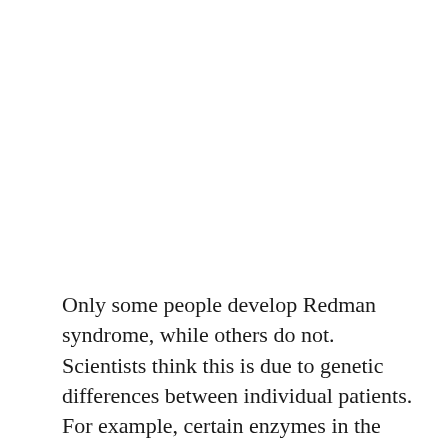Only some people develop Redman syndrome, while others do not. Scientists think this is due to genetic differences between individual patients. For example, certain enzymes in the body naturally break down histamine. Two enzymes perform this role, which are